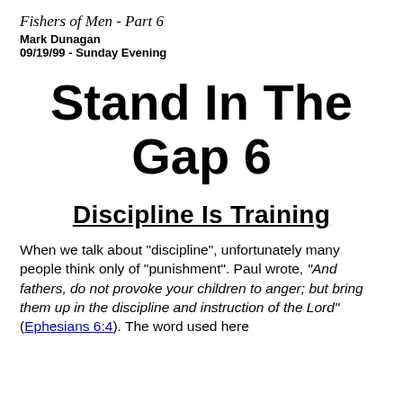Fishers of Men - Part 6
Mark Dunagan
09/19/99 - Sunday Evening
Stand In The Gap 6
Discipline Is Training
When we talk about "discipline", unfortunately many people think only of "punishment". Paul wrote, "And fathers, do not provoke your children to anger; but bring them up in the discipline and instruction of the Lord" (Ephesians 6:4). The word used here...